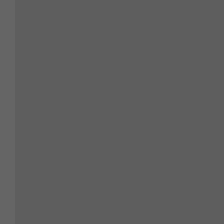[Figure (photo): Large gray/dark torn-edge photo occupying the left portion of the page]
A6GCM to 250F; http...
In the best tradition of... is, which one is whic...
I reference the 8W: R... particularly the exhau... on the internet is a lu... by chassis and autho... research was underta...
Chassis '2038' was n... number occasionally ... as a 250F', Pritchard...
Given the foregoing, ... but otherwise the sam...
http://8w.forix.com/25...
[Figure (photo): Small dark photo in the bottom right corner]